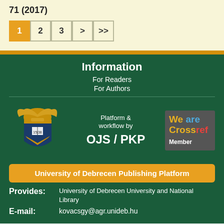71 (2017)
[Figure (other): Pagination navigation buttons: 1 (active/orange), 2, 3, >, >>]
Information
For Readers
For Authors
[Figure (logo): University of Debrecen crest/shield logo in gold and green]
Platform & workflow by OJS / PKP
[Figure (logo): We are Crossref Member badge on grey background]
University of Debrecen Publishing Platform
Provides: University of Debrecen University and National Library
E-mail: kovacsgy@agr.unideb.hu